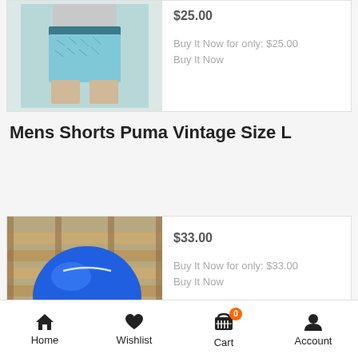[Figure (photo): Partial view of men's swim shorts with light blue pattern, worn by a model (torso/legs visible). Top portion cropped.]
$25.00
Buy It Now for only: $25.00
Buy It Now
Mens Shorts Puma Vintage Size L
[Figure (photo): Blue shiny Puma vintage shorts laid flat on a wooden pallet surface.]
$33.00
Buy It Now for only: $33.00
Buy It Now
Home   Wishlist   Cart   Account